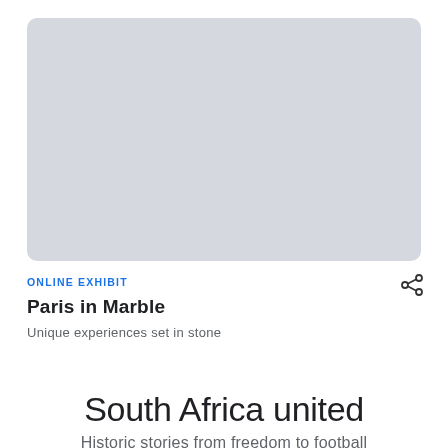[Figure (photo): Light gray rectangular placeholder image area with rounded corners]
ONLINE EXHIBIT
Paris in Marble
Unique experiences set in stone
South Africa united
Historic stories from freedom to football